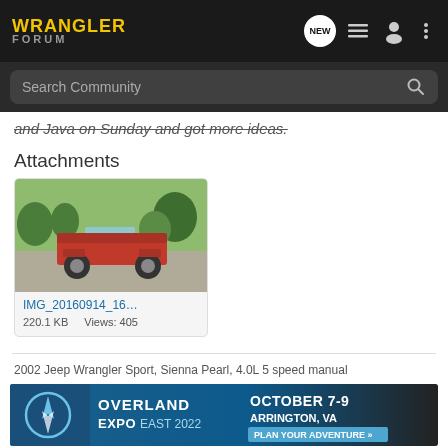WRANGLER FORUM
and Java on Sunday and got more ideas.
Attachments
[Figure (photo): Red lifted Jeep Wrangler TJ parked on a driveway with trees in background. Filename: IMG_20160914_16... Size: 220.1 KB, Views: 405]
2002 Jeep Wrangler Sport, Sienna Pearl, 4.0L 5 speed manual
[Figure (screenshot): Overland Expo East 2022 advertisement banner. October 7-9, Arrington, VA. Plan Your Adventure.]